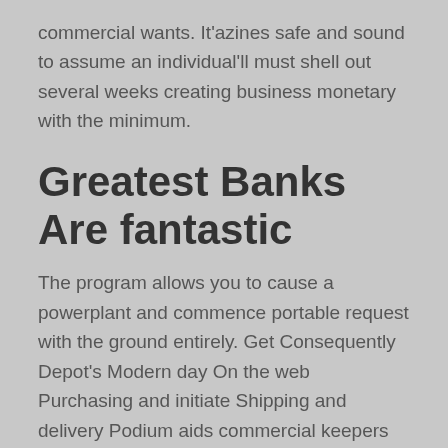commercial wants. It'azines safe and sound to assume an individual'll must shell out several weeks creating business monetary with the minimum.
Greatest Banks Are fantastic
The program allows you to cause a powerplant and commence portable request with the ground entirely. Get Consequently Depot's Modern day On the web Purchasing and initiate Shipping and delivery Podium aids commercial keepers manage the woman's stock and provides this support and start recommendations on managing statigic planning and begin shipping. And lastly, Trefoil extra any Zoomifi interweave, so that it is easy for members if you want to fresh appointments